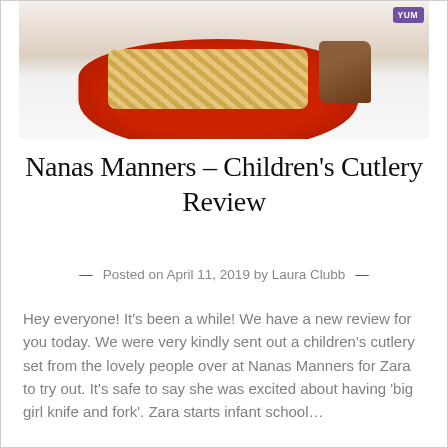[Figure (photo): Photo of a red children's plate with mac and cheese and a piece of brown food, with a purple label in the top right corner reading 'YUM']
Nanas Manners – Children's Cutlery Review
— Posted on April 11, 2019 by Laura Clubb —
Hey everyone! It's been a while! We have a new review for you today. We were very kindly sent out a children's cutlery set from the lovely people over at Nanas Manners for Zara to try out. It's safe to say she was excited about having 'big girl knife and fork'. Zara starts infant school…
Share this:
Twitter   Facebook
Like this: